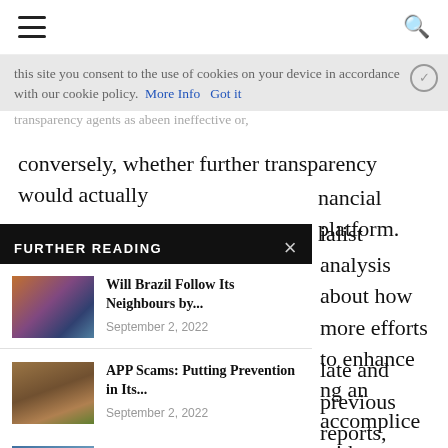Navigation bar with hamburger menu and search icon
this site you consent to the use of cookies on your device in accordance with our cookie policy.  More Info   Got it
conversely, whether further transparency would actually ... nancial platform.
FURTHER READING
Will Brazil Follow Its Neighbours by... — September 2, 2022
APP Scams: Putting Prevention in Its... — September 2, 2022
Global Airline Industry's Forecasts Brighten as... — September 1, 2022
ialist analysis about how more efforts to enhance ng an accomplice with tax
late and previous reports,